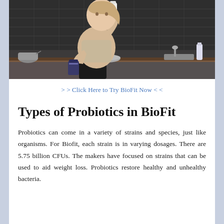[Figure (photo): A woman sitting on a kitchen counter drinking from a bottle while holding a supplement container, dark kitchen background with tile wall]
> > Click Here to Try BioFit Now < <
Types of Probiotics in BioFit
Probiotics can come in a variety of strains and species, just like organisms. For Biofit, each strain is in varying dosages. There are 5.75 billion CFUs. The makers have focused on strains that can be used to aid weight loss. Probiotics restore healthy and unhealthy bacteria.